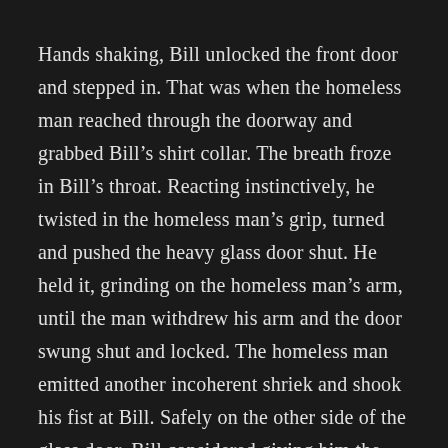Hands shaking, Bill unlocked the front door and stepped in. That was when the homeless man reached through the doorway and grabbed Bill's shirt collar. The breath froze in Bill's throat. Reacting instinctively, he twisted in the homeless man's grip, turned and pushed the heavy glass door shut. He held it, grinding on the homeless man's arm, until the man withdrew his arm and the door swung shut and locked. The homeless man emitted another incoherent shriek and shook his fist at Bill. Safely on the other side of the glass door, Bill considered giving him the finger. He decided he had pushed his luck enough for one day. He turned away and walked upstairs to his apartment.